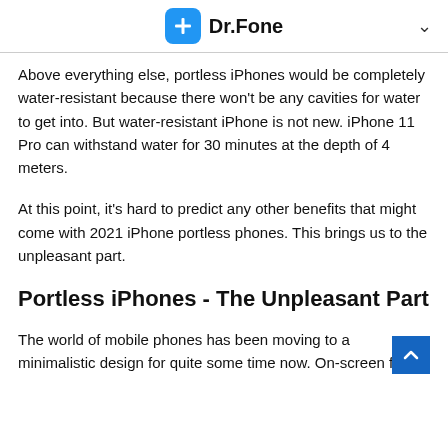Dr.Fone
Above everything else, portless iPhones would be completely water-resistant because there won't be any cavities for water to get into. But water-resistant iPhone is not new. iPhone 11 Pro can withstand water for 30 minutes at the depth of 4 meters.
At this point, it's hard to predict any other benefits that might come with 2021 iPhone portless phones. This brings us to the unpleasant part.
Portless iPhones - The Unpleasant Part
The world of mobile phones has been moving to a minimalistic design for quite some time now. On-screen fingers have...